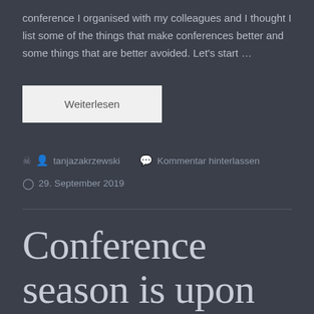conference I organised with my colleagues and I thought I list some of the things that make conferences better and some things that are better avoided. Let's start …
Weiterlesen
tanjazakrzewski   Kommentar hinterlassen
29. September 2019
Conference season is upon us